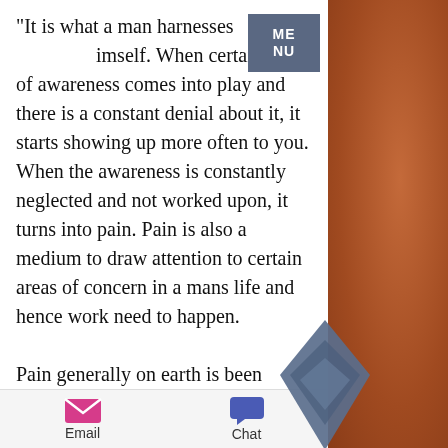[Figure (logo): MENU button, grey-blue square with ME NU text in white]
"It is what a man harnesses from within himself. When certain kind of awareness comes into play and there is a constant denial about it, it starts showing up more often to you. When the awareness is constantly neglected and not worked upon, it turns into pain. Pain is also a medium to draw attention to certain areas of concern in a mans life and hence work need to happen.

Pain generally on earth is been regarded as a very difficult and not so good concept. Rather if you view pain front its own viewpoint, it will just be trying to tell you that certain things needs to change in your
[Figure (logo): Diamond/Ethereum-like logo shape in dark blue-grey color]
[Figure (infographic): Footer bar with Email icon (pink envelope) and Chat icon (blue speech bubble) with labels Email and Chat]